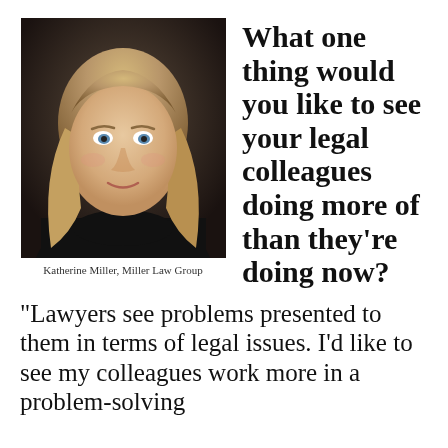[Figure (photo): Professional headshot of Katherine Miller, a woman with long blonde hair wearing a black turtleneck, against a dark background.]
Katherine Miller, Miller Law Group
What one thing would you like to see your legal colleagues doing more of than they're doing now?
“Lawyers see problems presented to them in terms of legal issues. I’d like to see my colleagues work more in a problem-solving